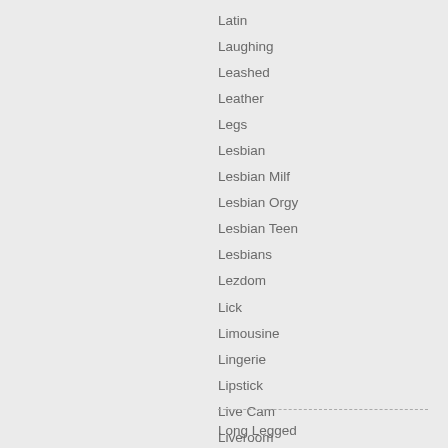Latin
Laughing
Leashed
Leather
Legs
Lesbian
Lesbian Milf
Lesbian Orgy
Lesbian Teen
Lesbians
Lezdom
Lick
Limousine
Lingerie
Lipstick
Live Cam
Liveroom
Loads
Lollipop
Lonely
Long Hair
Long Legged